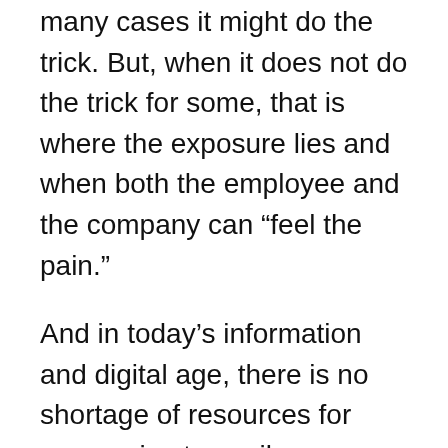many cases it might do the trick. But, when it does not do the trick for some, that is where the exposure lies and when both the employee and the company can “feel the pain.”
And in today’s information and digital age, there is no shortage of resources for companies to avail themselves of in order to navigate the ergo landscape. In truth, there are so many resources now, as compared to 10-15 years ago, that it may seem daunting to sift